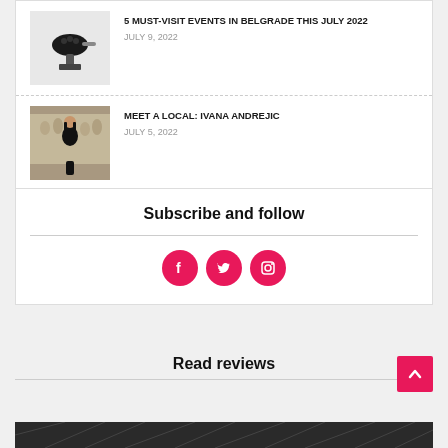[Figure (photo): Car key fob on white background]
5 MUST-VISIT EVENTS IN BELGRADE THIS JULY 2022
JULY 9, 2022
[Figure (photo): Woman sitting in front of classical relief sculpture at a museum]
MEET A LOCAL: IVANA ANDREJIC
JULY 5, 2022
Subscribe and follow
[Figure (infographic): Social media icons: Facebook, Twitter, Instagram — pink circles with white icons]
Read reviews
[Figure (photo): Dark patterned background image strip at the bottom]